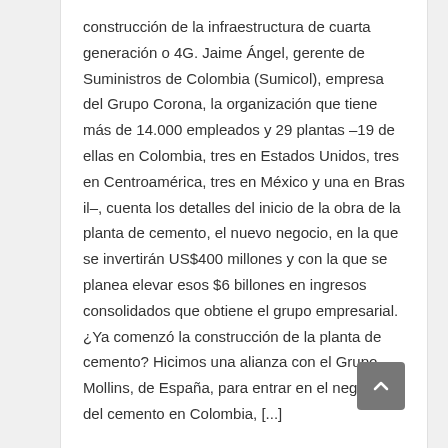construcción de la infraestructura de cuarta generación o 4G. Jaime Ángel, gerente de Suministros de Colombia (Sumicol), empresa del Grupo Corona, la organización que tiene más de 14.000 empleados y 29 plantas –19 de ellas en Colombia, tres en Estados Unidos, tres en Centroamérica, tres en México y una en Bras il–, cuenta los detalles del inicio de la obra de la planta de cemento, el nuevo negocio, en la que se invertirán US$400 millones y con la que se planea elevar esos $6 billones en ingresos consolidados que obtiene el grupo empresarial. ¿Ya comenzó la construcción de la planta de cemento? Hicimos una alianza con el Grupo Mollins, de España, para entrar en el negocio del cemento en Colombia, [...]